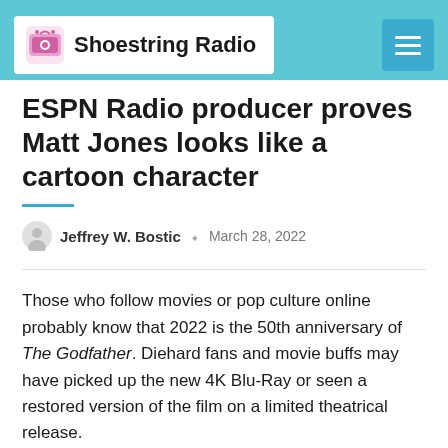Shoestring Radio
ESPN Radio producer proves Matt Jones looks like a cartoon character
Jeffrey W. Bostic  |  March 28, 2022
Those who follow movies or pop culture online probably know that 2022 is the 50th anniversary of The Godfather. Diehard fans and movie buffs may have picked up the new 4K Blu-Ray or seen a restored version of the film on a limited theatrical release.
To be more exact, Thursday (March 24) was the 50th anniversary of the classic film's release. And to commemorate the occasion, Chris Russo had a special guest on his mad dog unleashed SiriusXM broadcast. As